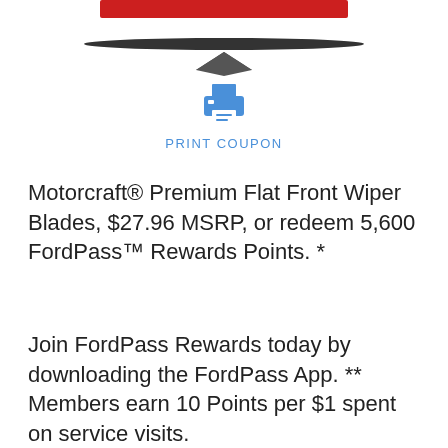[Figure (illustration): Partial view of Motorcraft wiper blade product image at top of page, showing red branding strip and wiper blade silhouette]
[Figure (illustration): Blue printer icon used as a print coupon button]
PRINT COUPON
Motorcraft® Premium Flat Front Wiper Blades, $27.96 MSRP, or redeem 5,600 FordPass™ Rewards Points. *
Join FordPass Rewards today by downloading the FordPass App. ** Members earn 10 Points per $1 spent on service visits.